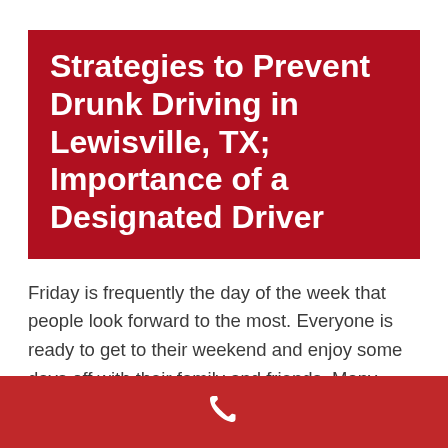Strategies to Prevent Drunk Driving in Lewisville, TX; Importance of a Designated Driver
Friday is frequently the day of the week that people look forward to the most. Everyone is ready to get to their weekend and enjoy some days off with their family and friends. Many people like to go out with their friends and have a few drinks. Enjoying the drinks comes easy but getting
[Figure (other): Phone/call icon in white on a dark red footer bar]